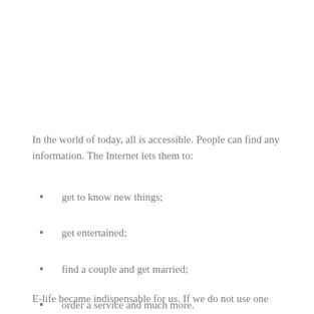In the world of today, all is accessible. People can find any information. The Internet lets them to:
get to know new things;
get entertained;
find a couple and get married;
order a service and much more.
E-life became indispensable for us. If we do not use one